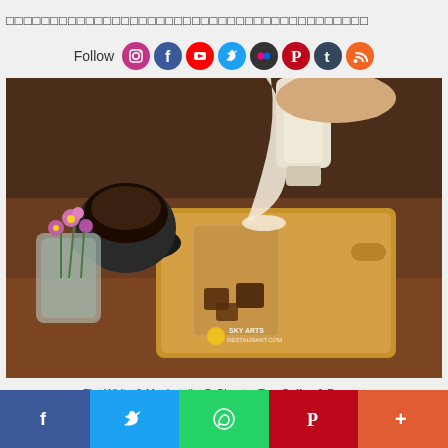□□□□□□□□□□□□□□□□□□□□□□□□□□□□□□□□□□□□□□□□□
Follow
[Figure (photo): A hand pouring milk from a bottle into a glass with coffee and ice cubes on a wooden cutting board. A jar of flowers and a cup of espresso are in the background. Watermark: SKY ARTS RESTAURANT.COM]
Flat White & Mochatella @ Chapter Two Coffee & Dessert
[Figure (infographic): Social share bar with Facebook, Twitter, WhatsApp, Pinterest, and More buttons]